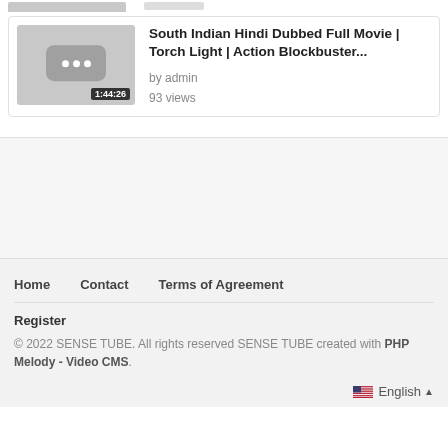[Figure (screenshot): Video thumbnail with duration 1:44:26, showing a chat bubble icon with three dots on a grey background]
South Indian Hindi Dubbed Full Movie | Torch Light | Action Blockbuster...
by admin
93 views
Home    Contact    Terms of Agreement
Register
© 2022 SENSE TUBE. All rights reserved SENSE TUBE created with PHP Melody - Video CMS.
English ▲